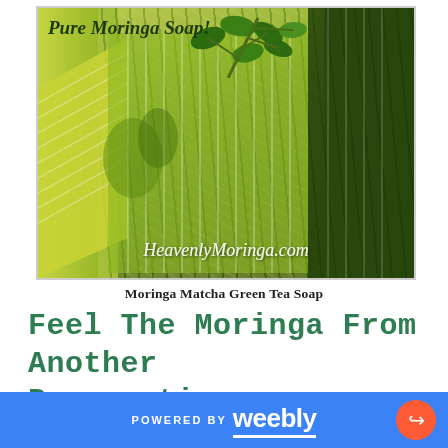[Figure (photo): Close-up photo of green moringa matcha soap bars stacked with moringa leaves on top. Text overlays say 'Pure Moringa Soap!' at top left and 'HeavenlyMoringa.com' at bottom center.]
Moringa Matcha Green Tea Soap
Feel The Moringa From Another Perspective...
POWERED BY weebly